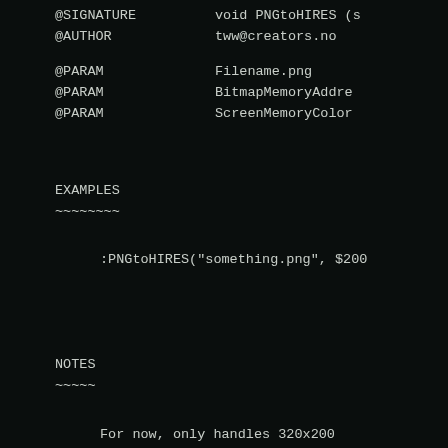@SIGNATURE    void PNGtoHIRES (s
@AUTHOR       tww@creators.no
@PARAM        Filename.png
@PARAM        BitmapMemoryAddre
@PARAM        ScreenMemoryColor
EXAMPLES
~~~~~~~~
:PNGtoHIRES("something.png", $200
NOTES
~~~~~
For now, only handles 320x200